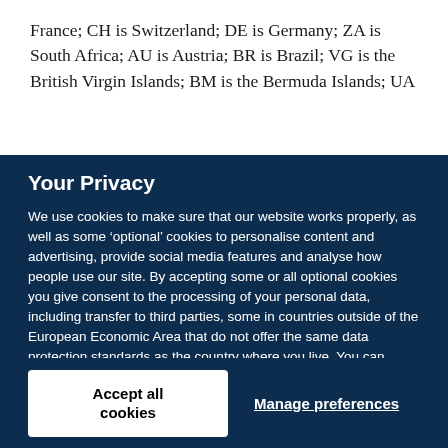France; CH is Switzerland; DE is Germany; ZA is South Africa; AU is Austria; BR is Brazil; VG is the British Virgin Islands; BM is the Bermuda Islands; UA
Your Privacy
We use cookies to make sure that our website works properly, as well as some ‘optional’ cookies to personalise content and advertising, provide social media features and analyse how people use our site. By accepting some or all optional cookies you give consent to the processing of your personal data, including transfer to third parties, some in countries outside of the European Economic Area that do not offer the same data protection standards as the country where you live. You can decide which optional cookies to accept by clicking on ‘Manage Settings’, where you can also find more information about how your personal data is processed. Further information can be found in our privacy policy.
Accept all cookies
Manage preferences